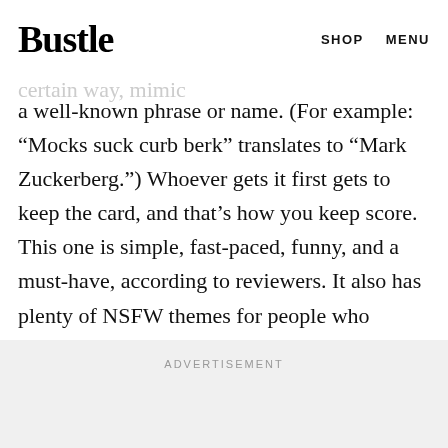Bustle   SHOP   MENU
answer, but everyone else at the table sees gibberish phrases or words that, when said a certain way, mimic a well-known phrase or name. (For example: “Mocks suck curb berk” translates to “Mark Zuckerberg.”) Whoever gets it first gets to keep the card, and that’s how you keep score. This one is simple, fast-paced, funny, and a must-have, according to reviewers. It also has plenty of NSFW themes for people who appreciate games that are rougher around the edges.
ADVERTISEMENT